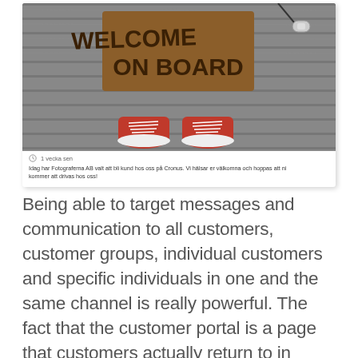[Figure (screenshot): Screenshot of a social media post or portal notification showing a 'Welcome On Board' doormat image with red sneakers on wooden deck, with a clock icon showing '1 vecka sen' and Swedish text: 'Idag har Fotograferna AB valt att bli kund hos oss på Cronus. Vi hälsar er välkomna och hoppas att ni kommer att drivas hos oss!']
Being able to target messages and communication to all customers, customer groups, individual customers and specific individuals in one and the same channel is really powerful. The fact that the customer portal is a page that customers actually return to in order to search for information and to initiate dialogs